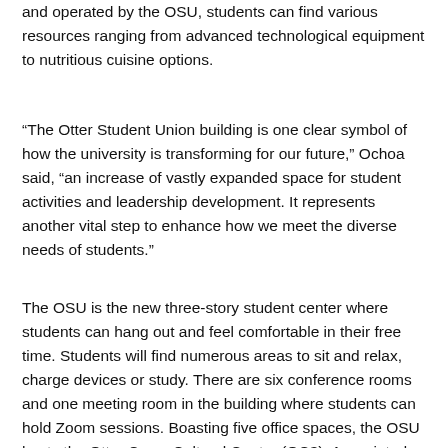and operated by the OSU, students can find various resources ranging from advanced technological equipment to nutritious cuisine options.
“The Otter Student Union building is one clear symbol of how the university is transforming for our future,” Ochoa said, “an increase of vastly expanded space for student activities and leadership development. It represents another vital step to enhance how we meet the diverse needs of students.”
The OSU is the new three-story student center where students can hang out and feel comfortable in their free time. Students will find numerous areas to sit and relax, charge devices or study. There are six conference rooms and one meeting room in the building where students can hold Zoom sessions. Boasting five office spaces, the OSU hosts the Otter Cross Cultural Center (OC3), Associated Students (AS), First Year Experience, Otter Student Union (OSU) and